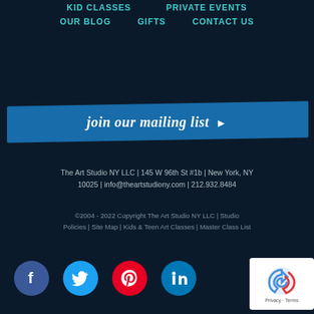KID CLASSES   PRIVATE EVENTS
OUR BLOG   GIFTS   CONTACT US
join our mailing list ▶
The Art Studio NY LLC | 145 W 96th St #1b | New York, NY 10025 | info@theartstudiony.com | 212.932.8484
©2004 - 2022 Copyright The Art Studio NY LLC | Studio Policies | Site Map | Kids & Teen Art Classes | Master Class List
[Figure (logo): Social media icons: Facebook, Twitter, Pinterest, LinkedIn circles, and a reCAPTCHA badge]